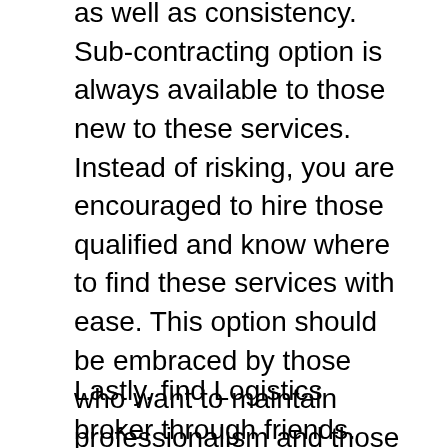as well as consistency. Sub-contracting option is always available to those new to these services. Instead of risking, you are encouraged to hire those qualified and know where to find these services with ease. This option should be embraced by those who want to maintain professionalism and those who need eminence services. This is a great option that can be relied upon whenever you require Logistics broker. This will involve deploying the available resources in the search for these services. It is a commendable option that can always be relied upon.
Lastly, find Logistics broker through friends. Your friends are vital resources and you should always make good use of them. This